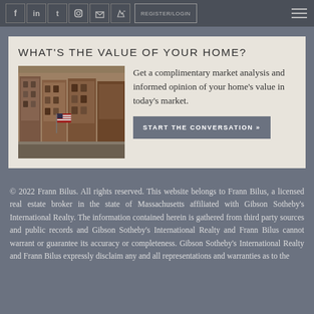Social icons: Facebook, LinkedIn, Twitter, Instagram, RSS, Edit | REGISTER/LOGIN | Hamburger menu
WHAT'S THE VALUE OF YOUR HOME?
[Figure (photo): Photo of brownstone/brick buildings on a city street with American flag visible]
Get a complimentary market analysis and informed opinion of your home's value in today's market.
START THE CONVERSATION »
© 2022 Frann Bilus. All rights reserved. This website belongs to Frann Bilus, a licensed real estate broker in the state of Massachusetts affiliated with Gibson Sotheby's International Realty. The information contained herein is gathered from third party sources and public records and Gibson Sotheby's International Realty and Frann Bilus cannot warrant or guarantee its accuracy or completeness. Gibson Sotheby's International Realty and Frann Bilus expressly disclaim any and all representations and warranties as to the